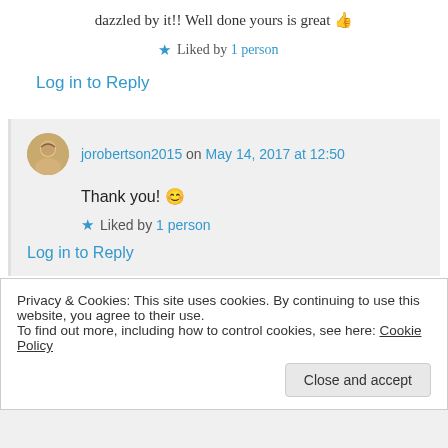dazzled by it!! Well done yours is great 👍
★ Liked by 1 person
Log in to Reply
jorobertson2015 on May 14, 2017 at 12:50
Thank you! 😊
★ Liked by 1 person
Log in to Reply
Privacy & Cookies: This site uses cookies. By continuing to use this website, you agree to their use.
To find out more, including how to control cookies, see here: Cookie Policy
Close and accept